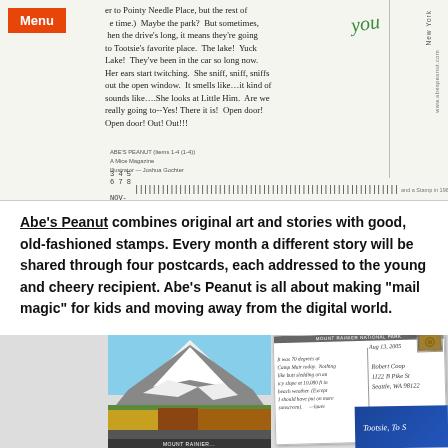[Figure (photo): Top section showing a postcard with handwritten-style story text on the left and 'you' in green handwriting on the right, with address and barcode info at the bottom of the card.]
Abe's Peanut combines original art and stories with good, old-fashioned stamps. Every month a different story will be shared through four postcards, each addressed to the young and cheery recipient. Abe's Peanut is all about making "mail magic" for kids and moving away from the digital world.
[Figure (photo): Bottom section showing two overlapping postcards: left postcard has a photo of Mount Rainier National Park with mountains and foliage; right postcard shows handwritten message addressed to Robert Coop, 1122 B Pike St, Seattle, WA 98122, with a stamp in corner. A blue card is partially visible at bottom right with cursive text 'Tootsie, To S...'.]